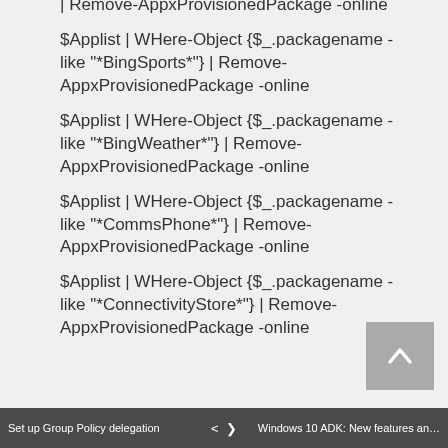| Remove-AppxProvisionedPackage -online
$Applist | WHere-Object {$_.packagename -like "*BingSports*"} | Remove-AppxProvisionedPackage -online
$Applist | WHere-Object {$_.packagename -like "*BingWeather*"} | Remove-AppxProvisionedPackage -online
$Applist | WHere-Object {$_.packagename -like "*CommsPhone*"} | Remove-AppxProvisionedPackage -online
$Applist | WHere-Object {$_.packagename -like "*ConnectivityStore*"} | Remove-AppxProvisionedPackage -online
Set up Group Policy delegation   <  >   Windows 10 ADK: New features an…